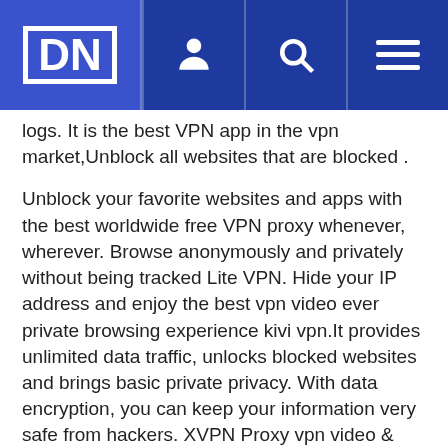DN [logo] [user icon] [search icon] [menu icon]
logs. It is the best VPN app in the vpn market,Unblock all websites that are blocked .
Unblock your favorite websites and apps with the best worldwide free VPN proxy whenever, wherever. Browse anonymously and privately without being tracked Lite VPN. Hide your IP address and enjoy the best vpn video ever private browsing experience kivi vpn.It provides unlimited data traffic, unlocks blocked websites and brings basic private privacy. With data encryption, you can keep your information very safe from hackers. XVPN Proxy vpn video & Wifi Privacy Security.
There are some features about this super fast hot VPN free VPN...